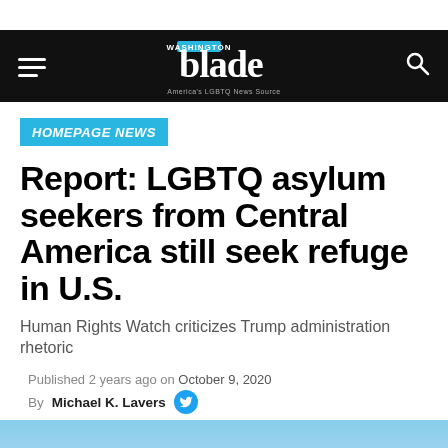Washington Blade — America's LGBTQ News Source
HOMEPAGE NEWS
Report: LGBTQ asylum seekers from Central America still seek refuge in U.S.
Human Rights Watch criticizes Trump administration rhetoric
Published 2 years ago on October 9, 2020
By Michael K. Lavers
[Figure (photo): Light blue sky with a partial view of a plane at the bottom of the image]